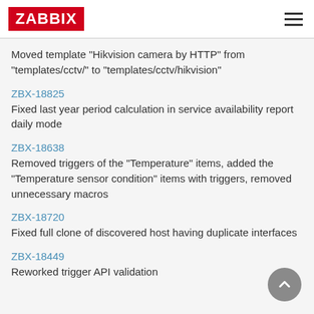ZABBIX
Moved template "Hikvision camera by HTTP" from "templates/cctv/" to "templates/cctv/hikvision"
ZBX-18825
Fixed last year period calculation in service availability report daily mode
ZBX-18638
Removed triggers of the "Temperature" items, added the "Temperature sensor condition" items with triggers, removed unnecessary macros
ZBX-18720
Fixed full clone of discovered host having duplicate interfaces
ZBX-18449
Reworked trigger API validation